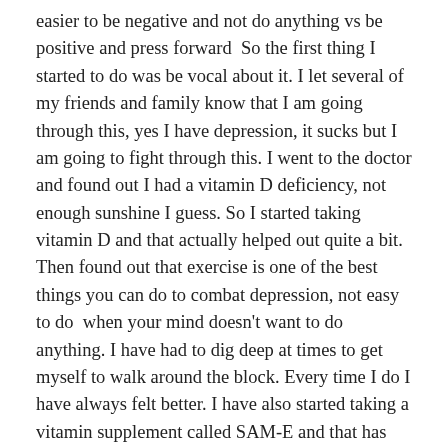easier to be negative and not do anything vs be positive and press forward  So the first thing I started to do was be vocal about it. I let several of my friends and family know that I am going through this, yes I have depression, it sucks but I am going to fight through this. I went to the doctor and found out I had a vitamin D deficiency, not enough sunshine I guess. So I started taking vitamin D and that actually helped out quite a bit. Then found out that exercise is one of the best things you can do to combat depression, not easy to do  when your mind doesn't want to do anything. I have had to dig deep at times to get myself to walk around the block. Every time I do I have always felt better. I have also started taking a vitamin supplement called SAM-E and that has helped with my mood. So as I push through this road block I do look to God as my rock and it is truly through Him I find comfort and freedom from this whole thing. I am being transparent so I can, hopefully inspire or help out with some of you that are going through the